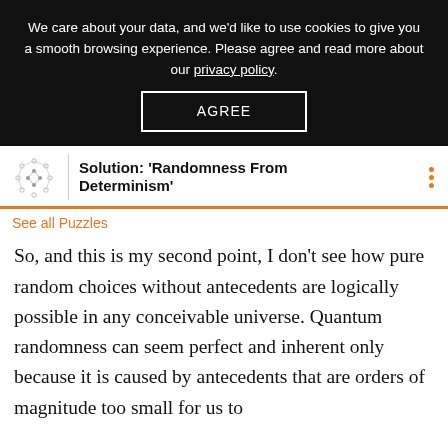We care about your data, and we'd like to use cookies to give you a smooth browsing experience. Please agree and read more about our privacy policy. AGREE
Solution: 'Randomness From Determinism'
See all Puzzles
So, and this is my second point, I don't see how pure random choices without antecedents are logically possible in any conceivable universe. Quantum randomness can seem perfect and inherent only because it is caused by antecedents that are orders of magnitude too small for us to